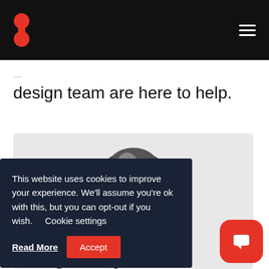Navigation header with logo and hamburger menu
design team are here to help.
[Figure (photo): Black and white circular photo of a person's head/hair on a light gray card background]
This website uses cookies to improve your experience. We'll assume you're ok with this, but you can opt-out if you wish. Cookie settings Read More Accept
a Design Project?
[Figure (other): Red rounded square chat button with white speech bubble icon]